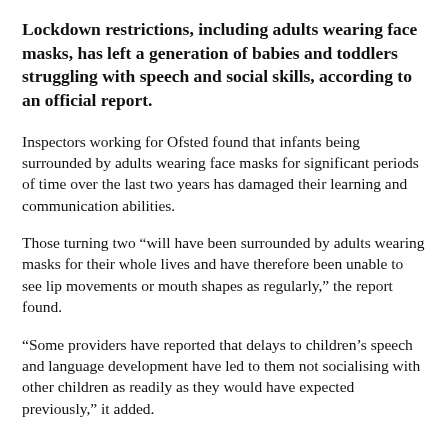Lockdown restrictions, including adults wearing face masks, has left a generation of babies and toddlers struggling with speech and social skills, according to an official report.
Inspectors working for Ofsted found that infants being surrounded by adults wearing face masks for significant periods of time over the last two years has damaged their learning and communication abilities.
Those turning two “will have been surrounded by adults wearing masks for their whole lives and have therefore been unable to see lip movements or mouth shapes as regularly,” the report found.
“Some providers have reported that delays to children’s speech and language development have led to them not socialising with other children as readily as they would have expected previously,” it added.